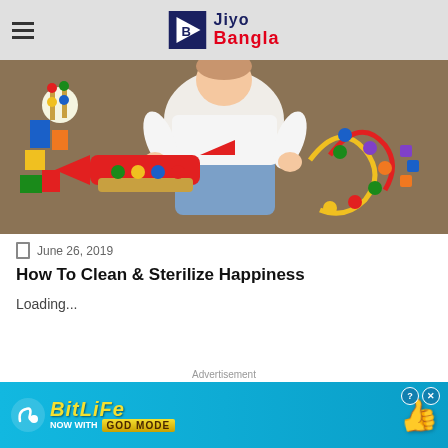Jiyo Bangla
[Figure (photo): Baby/toddler playing with colorful toys including a wooden toy set, building blocks, and bead maze on a carpet floor]
June 26, 2019
How To Clean & Sterilize Happiness
Loading...
Advertisement
[Figure (screenshot): BitLife advertisement banner: NOW WITH GOD MODE, showing a thumbs up hand gesture on cyan/blue background]